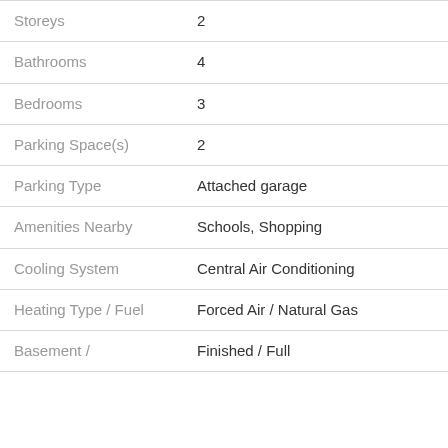| Field | Value |
| --- | --- |
| Storeys | 2 |
| Bathrooms | 4 |
| Bedrooms | 3 |
| Parking Space(s) | 2 |
| Parking Type | Attached garage |
| Amenities Nearby | Schools, Shopping |
| Cooling System | Central Air Conditioning |
| Heating Type / Fuel | Forced Air / Natural Gas |
| Basement / | Finished / Full |